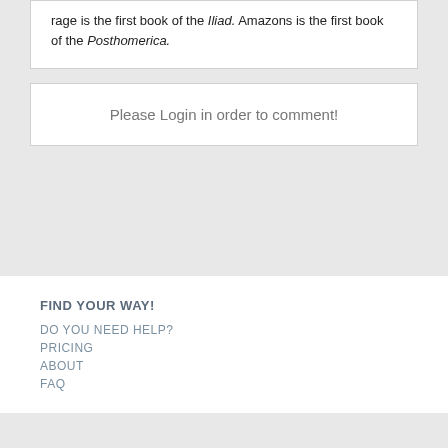rage is the first book of the Iliad. Amazons is the first book of the Posthomerica.
Please Login in order to comment!
FIND YOUR WAY!
DO YOU NEED HELP?
PRICING
ABOUT
FAQ